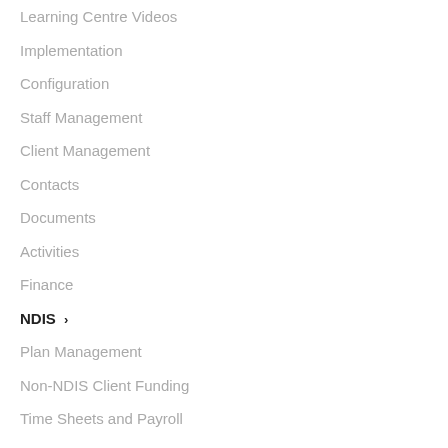Learning Centre Videos
Implementation
Configuration
Staff Management
Client Management
Contacts
Documents
Activities
Finance
NDIS ›
Plan Management
Non-NDIS Client Funding
Time Sheets and Payroll
Reports